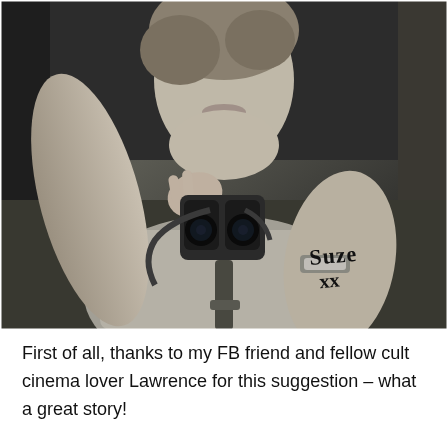[Figure (photo): Black and white photograph of a woman holding binoculars or a camera, wearing a sleeveless top with a watch on her wrist. She is looking down through the device. A handwritten signature reading 'Suze xx' is visible on her forearm.]
First of all, thanks to my FB friend and fellow cult cinema lover Lawrence for this suggestion – what a great story!